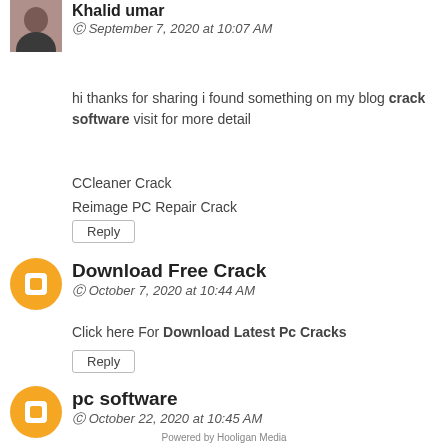Khalid umar
September 7, 2020 at 10:07 AM
hi thanks for sharing i found something on my blog crack software visit for more detail
CCleaner Crack
Reimage PC Repair Crack
Reply
Download Free Crack
October 7, 2020 at 10:44 AM
Click here For Download Latest Pc Cracks
Reply
pc software
October 22, 2020 at 10:45 AM
I love reading a post that will make people think. Also, many thanks for allowing for me to comment.visit my site
Powered by Hooligan Media